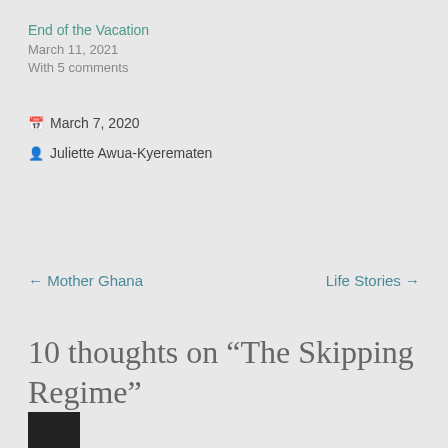End of the Vacation
March 11, 2021
With 5 comments
📅 March 7, 2020
👤 Juliette Awua-Kyerematen
← Mother Ghana
Life Stories →
10 thoughts on “The Skipping Regime”